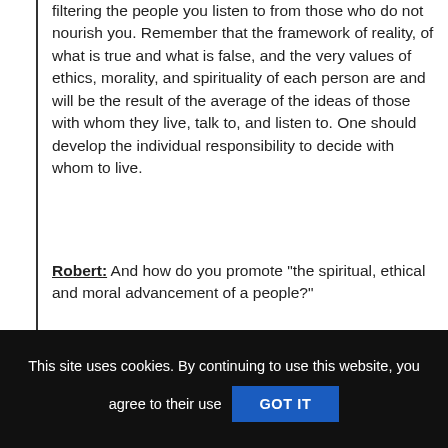filtering the people you listen to from those who do not nourish you. Remember that the framework of reality, of what is true and what is false, and the very values of ethics, morality, and spirituality of each person are and will be the result of the average of the ideas of those with whom they live, talk to, and listen to. One should develop the individual responsibility to decide with whom to live.
Robert: And how do you promote "the spiritual, ethical and moral advancement of a people?"
Yazhi: As I started to say, they must learn everything they can learn, but for that they must first have the interest and the intention to do that. To learn all that can be learned, continuous and objective learning, without the formation of attachments to information models. That is, with the flexibility to incorporate new ideas to the framework that forms the personal reality
This site uses cookies. By continuing to use this website, you agree to their use GOT IT